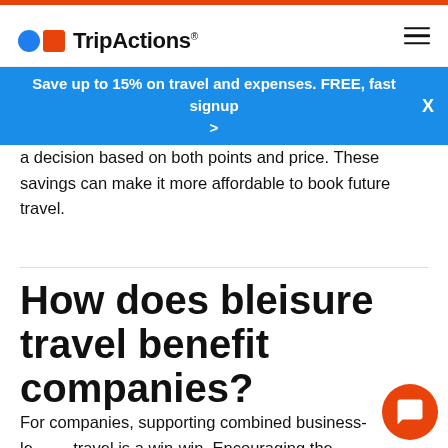TripActions
Save up to 15% on travel and expenses. FREE, fast signup >
a decision based on both points and price. These savings can make it more affordable to book future travel.
How does bleisure travel benefit companies?
For companies, supporting combined business-leisure travel is a win-win. Encouraging the practice can help fix the disconnect between a company's time-off